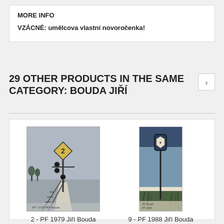MORE INFO
VZÁCNÉ: umělcova vlastní novoročenka!
29 OTHER PRODUCTS IN THE SAME CATEGORY: BOUDA JIŘÍ
[Figure (illustration): Artwork showing a railway signal post with a diamond-shaped sign bearing the number 2, in a wintry landscape with tracks. Signed 'PF 1979 Jiří Bouda'.]
2 - PF 1979 Jiří Bouda
[Figure (illustration): Artwork showing a tall post with a small rectangular shield sign against a blue-grey sky with grasses below. Signed 'Jiří Bouda PF 1988'.]
9 - PF 1988 Jiří Bouda